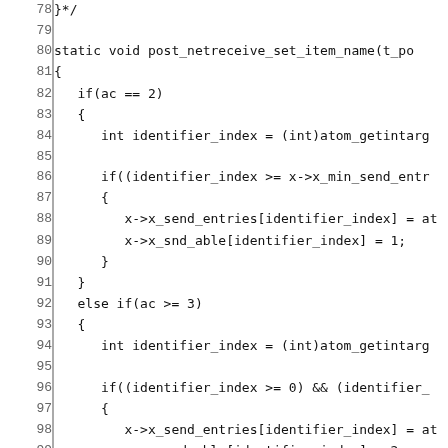Source code listing, lines 78–107, showing static void post_netreceive_set_item_name and beginning of post_netreceive_all_parameters functions in C.